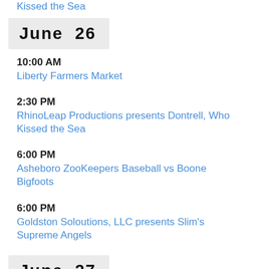Kissed the Sea
June  26
10:00 AM
Liberty Farmers Market
2:30 PM
RhinoLeap Productions presents Dontrell, Who Kissed the Sea
6:00 PM
Asheboro ZooKeepers Baseball vs Boone Bigfoots
6:00 PM
Goldston Soloutions, LLC presents Slim's Supreme Angels
June  27